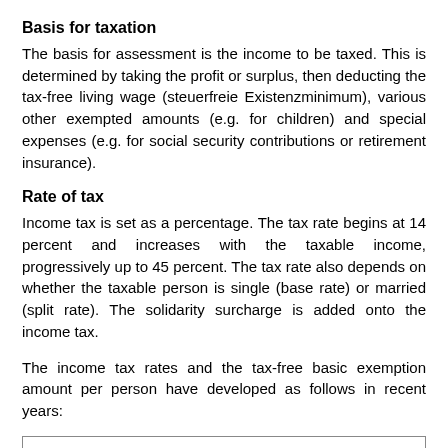Basis for taxation
The basis for assessment is the income to be taxed. This is determined by taking the profit or surplus, then deducting the tax-free living wage (steuerfreie Existenzminimum), various other exempted amounts (e.g. for children) and special expenses (e.g. for social security contributions or retirement insurance).
Rate of tax
Income tax is set as a percentage. The tax rate begins at 14 percent and increases with the taxable income, progressively up to 45 percent. The tax rate also depends on whether the taxable person is single (base rate) or married (split rate). The solidarity surcharge is added onto the income tax.
The income tax rates and the tax-free basic exemption amount per person have developed as follows in recent years: